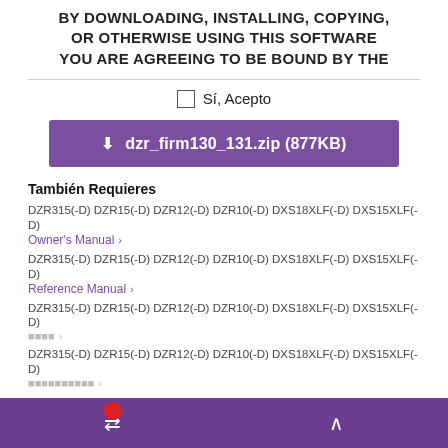BY DOWNLOADING, INSTALLING, COPYING, OR OTHERWISE USING THIS SOFTWARE YOU ARE AGREEING TO BE BOUND BY THE
Sí, Acepto
dzr_firm130_131.zip (877KB)
También Requieres
DZR315(-D) DZR15(-D) DZR12(-D) DZR10(-D) DXS18XLF(-D) DXS15XLF(-D) Owner's Manual
DZR315(-D) DZR15(-D) DZR12(-D) DZR10(-D) DXS18XLF(-D) DXS15XLF(-D) Reference Manual
DZR315(-D) DZR15(-D) DZR12(-D) DZR10(-D) DXS18XLF(-D) DXS15XLF(-D) 取扱説明書
DZR315(-D) DZR15(-D) DZR12(-D) DZR10(-D) DXS18XLF(-D) DXS15XLF(-D) リファレンスマニュアル
Recursos Relacionados